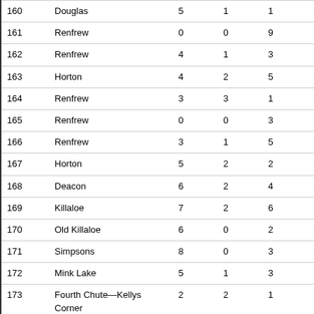| 160 | Douglas | 5 | 1 | 1 | 385 |
| 161 | Renfrew | 0 | 0 | 9 | 414 |
| 162 | Renfrew | 4 | 1 | 3 | 550 |
| 163 | Horton | 4 | 2 | 5 | 368 |
| 164 | Renfrew | 3 | 3 | 1 | 443 |
| 165 | Renfrew | 0 | 0 | 3 | 462 |
| 166 | Renfrew | 3 | 1 | 5 | 507 |
| 167 | Horton | 5 | 2 | 2 | 445 |
| 168 | Deacon | 6 | 2 | 4 | 344 |
| 169 | Killaloe | 7 | 2 | 6 | 399 |
| 170 | Old Killaloe | 6 | 0 | 2 | 330 |
| 171 | Simpsons | 8 | 0 | 3 | 396 |
| 172 | Mink Lake | 5 | 1 | 3 | 362 |
| 173 | Fourth Chute—Kellys Corner | 2 | 2 | 1 | 333 |
| 174 | Eganville | 5 | 1 | 4 | 331 |
| 175 | Eganville | 1 | 0 | 2 | 289 |
| 176 | Eganville | 13 | 1 | 2 | 314 |
| 177 | Donegal | 5 | 0 | 0 | 356 |
| 178 | Eganville—Rannoboro Valley | 9 | 1 | 4 | 355 |